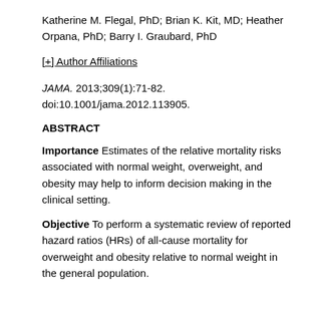Katherine M. Flegal, PhD; Brian K. Kit, MD; Heather Orpana, PhD; Barry I. Graubard, PhD
[+] Author Affiliations
JAMA. 2013;309(1):71-82. doi:10.1001/jama.2012.113905.
ABSTRACT
Importance Estimates of the relative mortality risks associated with normal weight, overweight, and obesity may help to inform decision making in the clinical setting.
Objective To perform a systematic review of reported hazard ratios (HRs) of all-cause mortality for overweight and obesity relative to normal weight in the general population.